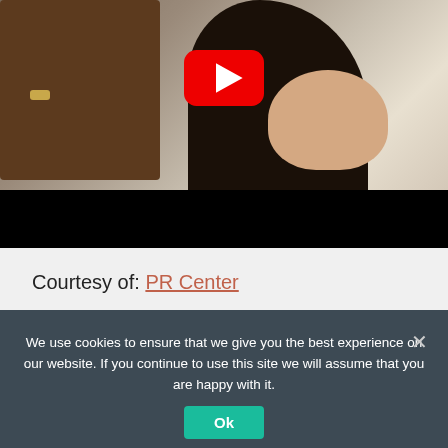[Figure (screenshot): YouTube video thumbnail showing a woman with long dark hair, a wooden furniture piece on the left, and a large YouTube play button (red rounded rectangle with white triangle) centered in the upper portion. The lower portion of the video is black (controls/letterbox area).]
Courtesy of: PR Center
We use cookies to ensure that we give you the best experience on our website. If you continue to use this site we will assume that you are happy with it.